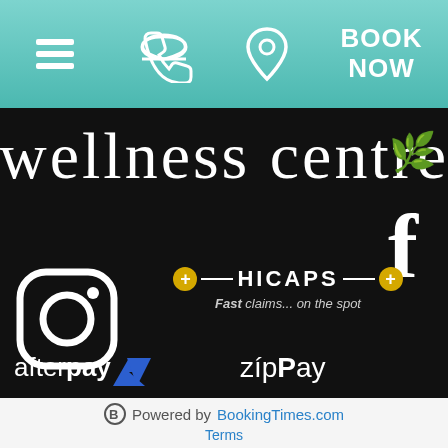Navigation bar with hamburger menu, phone icon, location pin icon, and BOOK NOW button
[Figure (screenshot): Wellness centre script text logo on dark background]
[Figure (logo): Facebook 'f' icon in white on dark background]
[Figure (logo): Instagram camera icon in white outline on dark background]
[Figure (logo): HICAPS logo with yellow plus signs and tagline 'Fast claims... on the spot']
[Figure (logo): Afterpay logo in white]
[Figure (logo): zipPay logo in white]
Blog
Testimonials
Powered by BookingTimes.com  Terms